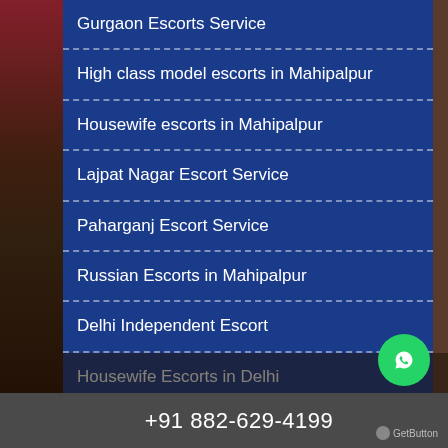Gurgaon Escorts Service
High class model escorts in Mahipalpur
Housewife escorts in Mahipalpur
Lajpat Nagar Escort Service
Paharganj Escort Service
Russian Escorts in Mahipalpur
Delhi Independent Escort
Housewife Escorts in Delhi
+91 882-629-4199